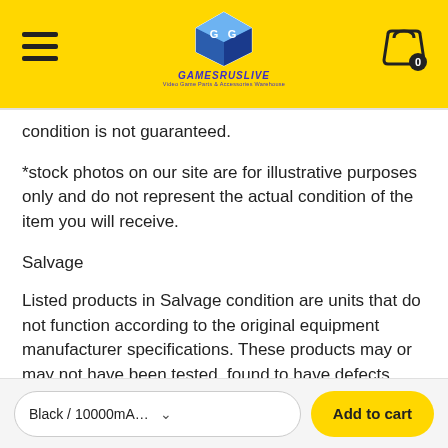[Figure (logo): GamesRUsLive logo — blue/purple cube graphic with GAMESRUSLIVE text and 'Video Game Parts & Accessories Warehouse' subtitle, on yellow header background]
condition is not guaranteed.
*stock photos on our site are for illustrative purposes only and do not represent the actual condition of the item you will receive.
Salvage
Listed products in Salvage condition are units that do not function according to the original equipment manufacturer specifications. These products may or may not have been tested, found to have defects, and are deemed to be non-functional.
Black / 10000mAh / Wireless $24.9
Add to cart